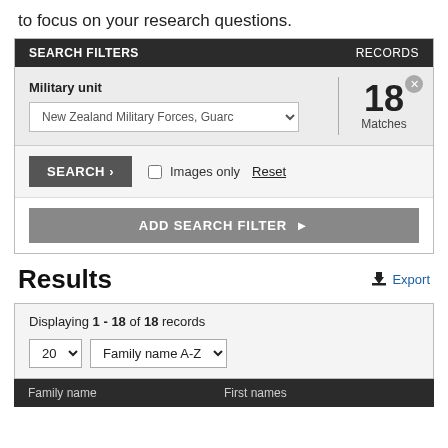to focus on your research questions.
[Figure (screenshot): Search filters UI panel showing Military unit filter with 'New Zealand Military Forces, Guard' selected in a dropdown, showing 18 Matches. Includes SEARCH button, Images only checkbox, Reset link, and ADD SEARCH FILTER button.]
Results
Export
Displaying 1 - 18 of 18 records
20  Family name A-Z
| Family name | First names |
| --- | --- |